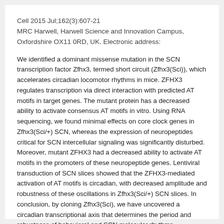Cell 2015 Jul;162(3):607-21
MRC Harwell, Harwell Science and Innovation Campus, Oxfordshire OX11 0RD, UK. Electronic address:
We identified a dominant missense mutation in the SCN transcription factor Zfhx3, termed short circuit (Zfhx3(Sci)), which accelerates circadian locomotor rhythms in mice. ZFHX3 regulates transcription via direct interaction with predicted AT motifs in target genes. The mutant protein has a decreased ability to activate consensus AT motifs in vitro. Using RNA sequencing, we found minimal effects on core clock genes in Zfhx3(Sci/+) SCN, whereas the expression of neuropeptides critical for SCN intercellular signaling was significantly disturbed. Moreover, mutant ZFHX3 had a decreased ability to activate AT motifs in the promoters of these neuropeptide genes. Lentiviral transduction of SCN slices showed that the ZFHX3-mediated activation of AT motifs is circadian, with decreased amplitude and robustness of these oscillations in Zfhx3(Sci/+) SCN slices. In conclusion, by cloning Zfhx3(Sci), we have uncovered a circadian transcriptional axis that determines the period and robustness of behavioral and SCN molecular rhythms.